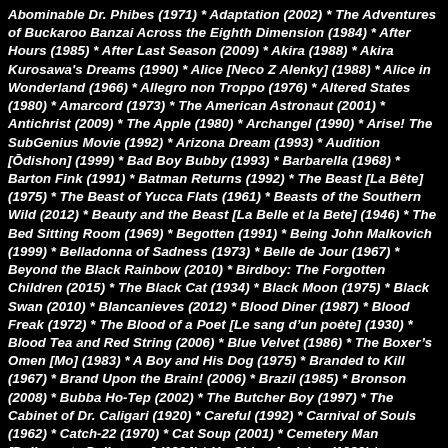Abominable Dr. Phibes (1971) * Adaptation (2002) * The Adventures of Buckaroo Banzai Across the Eighth Dimension (1984) * After Hours (1985) * After Last Season (2009) * Akira (1988) * Akira Kurosawa's Dreams (1990) * Alice [Neco Z Alenky] (1988) * Alice in Wonderland (1966) * Allegro non Troppo (1976) * Altered States (1980) * Amarcord (1973) * The American Astronaut (2001) * Antichrist (2009) * The Apple (1980) * Archangel (1990) * Arise! The SubGenius Movie (1992) * Arizona Dream (1993) * Audition [Ōdishon] (1999) * Bad Boy Bubby (1993) * Barbarella (1968) * Barton Fink (1991) * Batman Returns (1992) * The Beast [La Bête] (1975) * The Beast of Yucca Flats (1961) * Beasts of the Southern Wild (2012) * Beauty and the Beast [La Belle et la Bete] (1946) * The Bed Sitting Room (1969) * Begotten (1991) * Being John Malkovich (1999) * Belladonna of Sadness (1973) * Belle de Jour (1967) * Beyond the Black Rainbow (2010) * Birdboy: The Forgotten Children (2015) * The Black Cat (1934) * Black Moon (1975) * Black Swan (2010) * Blancanieves (2012) * Blood Diner (1987) * Blood Freak (1972) * The Blood of a Poet [Le sang d'un poète] (1930) * Blood Tea and Red String (2006) * Blue Velvet (1986) * The Boxer's Omen [Mo] (1983) * A Boy and His Dog (1975) * Branded to Kill (1967) * Brand Upon the Brain! (2006) * Brazil (1985) * Bronson (2008) * Bubba Ho-Tep (2002) * The Butcher Boy (1997) * The Cabinet of Dr. Caligari (1920) * Careful (1992) * Carnival of Souls (1962) * Catch-22 (1970) * Cat Soup (2001) * Cemetery Man [Dellamorte Dellamore] (1994) * Un Chien Andalou (1929) * Christmas on Mars (2008) * The City of Lost Children [La cité des enfants perdus] (1995) * City of Women (1980) * Clean, Shaven (1993) * A Clockwork Orange (1971) * The Color of Pomegranates [Sayat-Nova] (1969) * Come and See (1985) * The Company